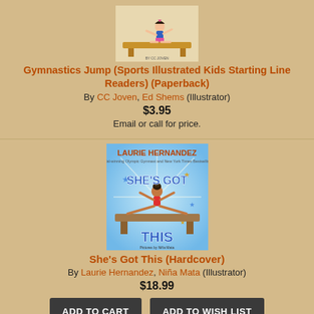[Figure (illustration): Book cover for Gymnastics Jump (Sports Illustrated Kids Starting Line Readers) showing a cartoon girl doing gymnastics on a balance beam]
Gymnastics Jump (Sports Illustrated Kids Starting Line Readers) (Paperback)
By CC Joven, Ed Shems (Illustrator)
$3.95
Email or call for price.
[Figure (illustration): Book cover for She's Got This by Laurie Hernandez showing a cartoon girl doing splits on a balance beam with stars around her on a blue background]
She's Got This (Hardcover)
By Laurie Hernandez, Niña Mata (Illustrator)
$18.99
ADD TO CART
ADD TO WISH LIST